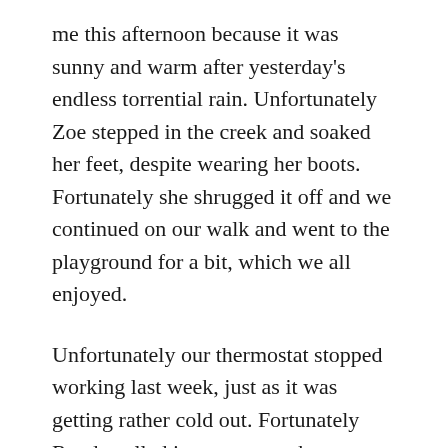me this afternoon because it was sunny and warm after yesterday's endless torrential rain. Unfortunately Zoe stepped in the creek and soaked her feet, despite wearing her boots. Fortunately she shrugged it off and we continued on our walk and went to the playground for a bit, which we all enjoyed.
Unfortunately our thermostat stopped working last week, just as it was getting rather cold out. Fortunately Randy called in an expert who determined that it was just the thermostat and not the heating system, which was much less expensive to replace. Fortunately Randy was able to get a new one on sale and the guy came to install it on Saturday